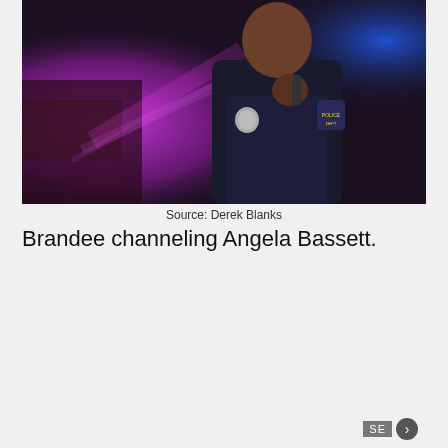[Figure (photo): A person dressed as a police officer, wearing a dark uniform with badge and patch, holding a radio near their chin. Dramatic lighting with pink/magenta and blue flashing lights from police car in background.]
Source: Derek Blanks
Brandee channeling Angela Bassett.
[Figure (photo): A person with short curly blonde/light hair and round glasses, looking surprised or wide-eyed at the camera, with wooden bookshelves and books in the background. A navigation button with '>' is visible in the lower right.]